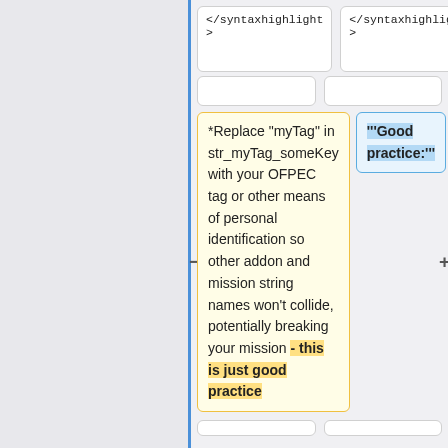</syntaxhighlight>
</syntaxhighlight>
*Replace "myTag" in str_myTag_someKey with your OFPEC tag or other means of personal identification so other addon and mission string names won't collide, potentially breaking your mission - this is just good practice
'''Good practice:'''